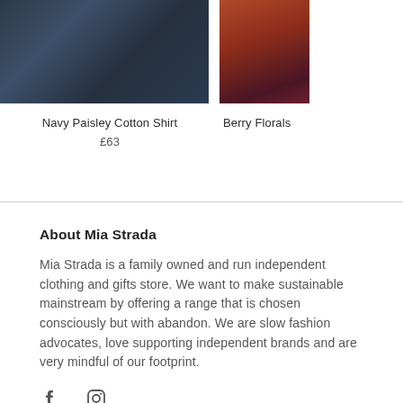[Figure (photo): Navy paisley patterned fabric shirt, partially cropped at top]
[Figure (photo): Berry floral item on rust/brown background, partially cropped at top right]
Navy Paisley Cotton Shirt
£63
Berry Florals
About Mia Strada
Mia Strada is a family owned and run independent clothing and gifts store. We want to make sustainable mainstream by offering a range that is chosen consciously but with abandon. We are slow fashion advocates, love supporting independent brands and are very mindful of our footprint.
[Figure (other): Social media icons: Facebook and Instagram]